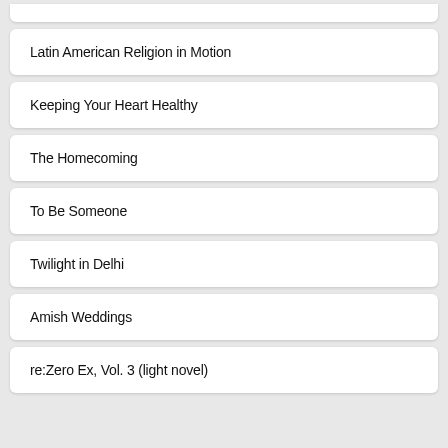Latin American Religion in Motion
Keeping Your Heart Healthy
The Homecoming
To Be Someone
Twilight in Delhi
Amish Weddings
re:Zero Ex, Vol. 3 (light novel)